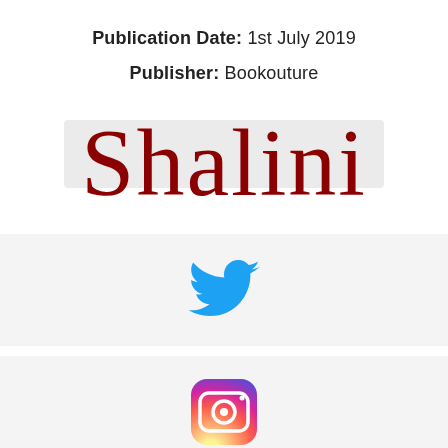Publication Date: 1st July 2019
Publisher: Bookouture
[Figure (illustration): Shalini signature logo in dark red cursive/script font with light grey banner behind it]
[Figure (logo): Twitter bird logo in blue]
[Figure (logo): Instagram camera logo with gradient (pink/orange/purple)]